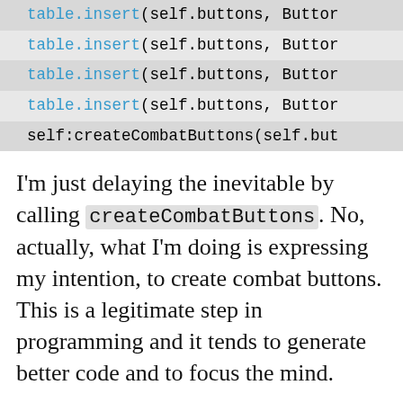[Figure (screenshot): Code block showing five lines: four lines of table.insert(self.buttons, Buttor... and one line of self:createCombatButtons(self.but...]
I'm just delaying the inevitable by calling createCombatButtons. No, actually, what I'm doing is expressing my intention, to create combat buttons. This is a legitimate step in programming and it tends to generate better code and to focus the mind.
For now, I'll just jam these guys in above the arrow controls, recognizing that Dave